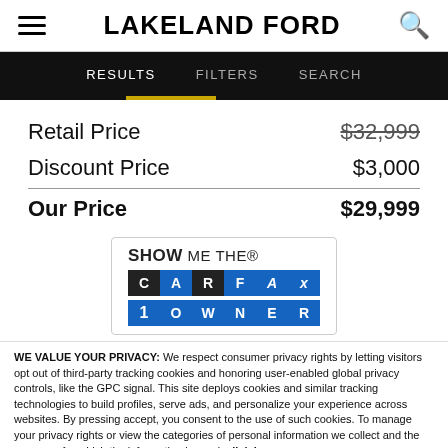LAKELAND FORD
RESULTS   FILTERS   SEARCH
| Retail Price | $32,999 |
| Discount Price | $3,000 |
| Our Price | $29,999 |
[Figure (logo): SHOW ME THE CARFAX 1OWNER logo badge]
WE VALUE YOUR PRIVACY: We respect consumer privacy rights by letting visitors opt out of third-party tracking cookies and honoring user-enabled global privacy controls, like the GPC signal. This site deploys cookies and similar tracking technologies to build profiles, serve ads, and personalize your experience across websites. By pressing accept, you consent to the use of such cookies. To manage your privacy rights or view the categories of personal information we collect and the purposes for which the information is used, click here.
Language: English  ∨   Powered by ComplyAuto
Accept and Continue →   Privacy Policy   ×